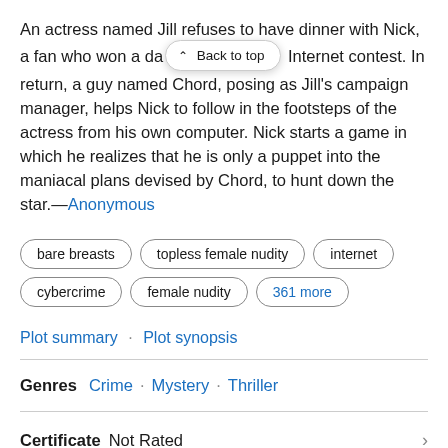An actress named Jill refuses to have dinner with Nick, a fan who won a da[te with her through an] Internet contest. In return, a guy named Chord, posing as Jill's campaign manager, helps Nick to follow in the footsteps of the actress from his own computer. Nick starts a game in which he realizes that he is only a puppet into the maniacal plans devised by Chord, to hunt down the star.—Anonymous
bare breasts
topless female nudity
internet
cybercrime
female nudity
361 more
Plot summary · Plot synopsis
Genres  Crime · Mystery · Thriller
Certificate  Not Rated